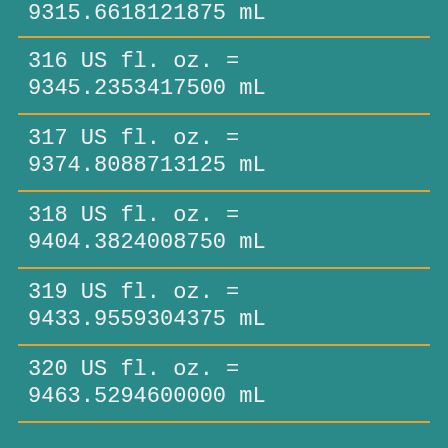9315.6618121875 mL
316 US fl. oz. = 9345.2353417500 mL
317 US fl. oz. = 9374.8088713125 mL
318 US fl. oz. = 9404.3824008750 mL
319 US fl. oz. = 9433.9559304375 mL
320 US fl. oz. = 9463.5294600000 mL